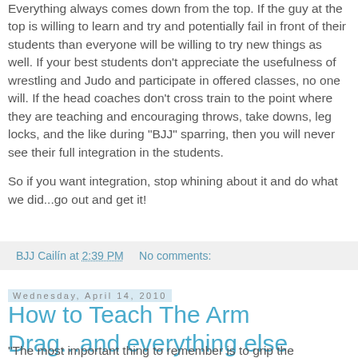Everything always comes down from the top. If the guy at the top is willing to learn and try and potentially fail in front of their students than everyone will be willing to try new things as well. If your best students don't appreciate the usefulness of wrestling and Judo and participate in offered classes, no one will. If the head coaches don't cross train to the point where they are teaching and encouraging throws, take downs, leg locks, and the like during "BJJ" sparring, then you will never see their full integration in the students.

So if you want integration, stop whining about it and do what we did...go out and get it!
BJJ Cailín at 2:39 PM   No comments:
Wednesday, April 14, 2010
How to Teach The Arm Drag...and everything else
"The most important thing to remember is to grip the